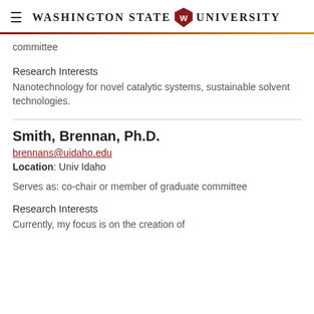Washington State University
committee
Research Interests
Nanotechnology for novel catalytic systems, sustainable solvent technologies.
Smith, Brennan, Ph.D.
brennans@uidaho.edu
Location: Univ Idaho
Serves as: co-chair or member of graduate committee
Research Interests
Currently, my focus is on the creation of